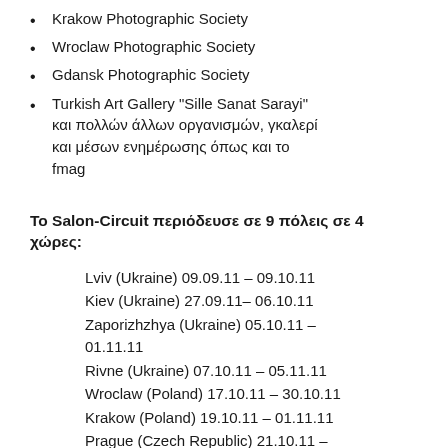Krakow Photographic Society
Wroclaw Photographic Society
Gdansk Photographic Society
Turkish Art Gallery "Sille Sanat Sarayi" και πολλών άλλων οργανισμών, γκαλερί και μέσων ενημέρωσης όπως και το fmag
Το Salon-Circuit περιόδευσε σε 9 πόλεις σε 4 χώρες:
Lviv (Ukraine) 09.09.11 – 09.10.11
Kiev (Ukraine) 27.09.11– 06.10.11
Zaporizhzhya (Ukraine) 05.10.11 – 01.11.11
Rivne (Ukraine) 07.10.11 – 05.11.11
Wroclaw (Poland) 17.10.11 – 30.10.11
Krakow (Poland) 19.10.11 – 01.11.11
Prague (Czech Republic) 21.10.11 – 3.11.11
Odesa (Ukraine) 01.11.11 – 14.11.11